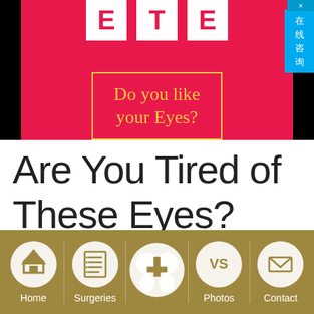[Figure (photo): Red promotional banner with white logo letters (ETE) at top and yellow text 'Do you like your Eyes?' in a bordered box, on black background. Chinese chat button overlay on right side.]
Are You Tired of These Eyes?
[Figure (infographic): Navigation bar with tan/brown background showing 5 navigation items: Home (house icon), Surgeries (list icon), center logo icon (eye/butterfly shape), Photos (VS icon), Contact (envelope icon)]